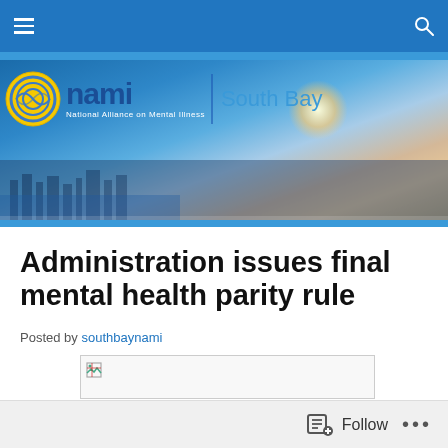NAMI South Bay — Navigation bar
[Figure (photo): NAMI South Bay banner with aerial photo of South Bay coastline and city. NAMI logo with yellow circle emblem and blue NAMI text, tagline 'National Alliance on Mental Illness', and 'South Bay' subtitle in light blue.]
Administration issues final mental health parity rule
Posted by southbaynami
[Figure (other): Broken image placeholder]
Follow ...